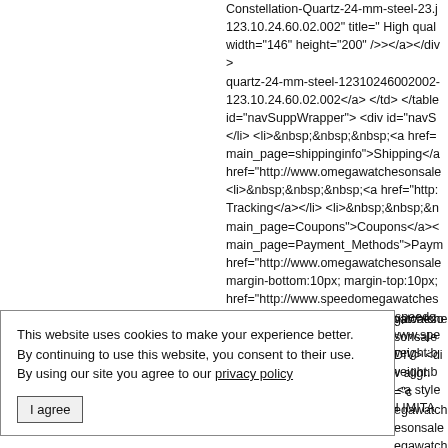Constellation-Quartz-24-mm-steel-23.j 123.10.24.60.02.002" title=" High qual width="146" height="200" /></a></div> quartz-24-mm-steel-12310246002002- 123.10.24.60.02.002</a> </td> </table id="navSuppWrapper"> <div id="navS </li> <li>&nbsp;&nbsp;&nbsp;<a href= main_page=shippinginfo">Shipping</a href="http://www.omegawatchesonsale <li>&nbsp;&nbsp;&nbsp;<a href="http: Tracking</a></li> <li>&nbsp;&nbsp;&n main_page=Coupons">Coupons</a>< main_page=Payment_Methods">Paym href="http://www.omegawatchesonsale margin-bottom:10px; margin-top:10px; href="http://www.speedomegawatches weight:bold;" href="http://www.speedo font-weight:bold;" href="http://www.spe &nbsp;&nbsp; <a style=" font-weight:b &nbsp;&nbsp; <a style=" font-weight:b WATCHES</a> &nbsp;&nbsp; <a style target="_blank">OMEGA HIGH IMITA
egawatchesonsale
This website uses cookies to make your experience better. By continuing to use this website, you consent to their use. By using our site you agree to our privacy policy
I agree
gawatchesonsale DIV> <div align="c egawatchesonsale egawatchesonsale ncler313.webs.co ="http://tiffanyco